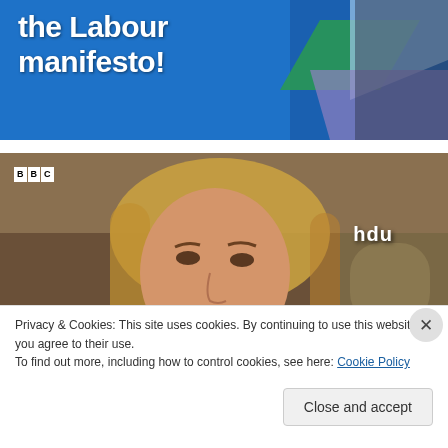[Figure (screenshot): Partial screenshot showing text 'the Labour manifesto!' in white bold font on blue background with decorative shapes on the right side, a person in dark suit partially visible]
[Figure (screenshot): BBC screenshot showing a woman with blonde hair looking skeptical, with BBC logo in top left, 'hdu' watermark in top right, and caption text 'HOW CAN WE TRUST SOMEONE' at the bottom on dark background]
Privacy & Cookies: This site uses cookies. By continuing to use this website, you agree to their use.
To find out more, including how to control cookies, see here: Cookie Policy